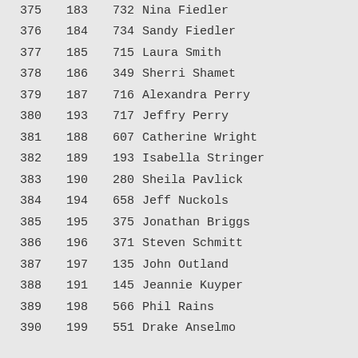| Col1 | Col2 | BibNum | Name | Gender |
| --- | --- | --- | --- | --- |
| 375 | 183 | 732 | Nina Fiedler | F |
| 376 | 184 | 734 | Sandy Fiedler | F |
| 377 | 185 | 715 | Laura Smith | F |
| 378 | 186 | 349 | Sherri Shamet | F |
| 379 | 187 | 716 | Alexandra Perry | F |
| 380 | 193 | 717 | Jeffry Perry | M |
| 381 | 188 | 607 | Catherine Wright | F |
| 382 | 189 | 193 | Isabella Stringer | F |
| 383 | 190 | 280 | Sheila Pavlick | F |
| 384 | 194 | 658 | Jeff Nuckols | M |
| 385 | 195 | 375 | Jonathan Briggs | M |
| 386 | 196 | 371 | Steven Schmitt | M |
| 387 | 197 | 135 | John Outland | M |
| 388 | 191 | 145 | Jeannie Kuyper | F |
| 389 | 198 | 566 | Phil Rains | M |
| 390 | 199 | 551 | Drake Anselmo | M |